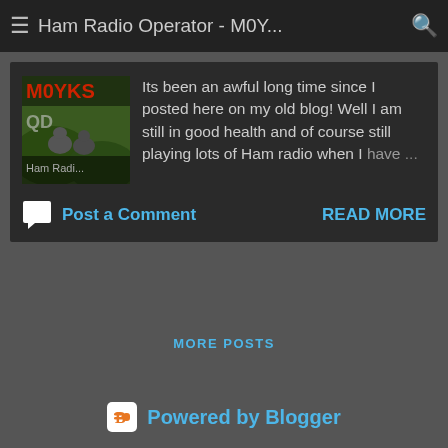Ham Radio Operator - M0Y...
[Figure (screenshot): Blog post thumbnail showing M0YKS QDX Ham Radio logo with dogs in background]
Its been an awful long time since I posted here on my old blog! Well I am still in good health and of course still playing lots of Ham radio when I have ...
Post a Comment
READ MORE
MORE POSTS
Powered by Blogger